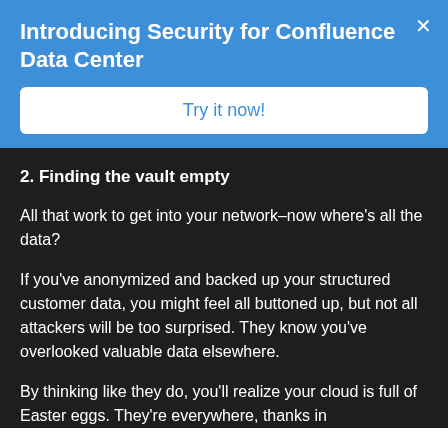Introducing Security for Confluence Data Center
Try it now!
2. Finding the vault empty
All that work to get into your network–now where's all the data?
If you've anonymized and backed up your structured customer data, you might feel all buttoned up, but not all attackers will be too surprised. They know you've overlooked valuable data elsewhere.
By thinking like they do, you'll realize your cloud is full of Easter eggs. They're everywhere, thanks in